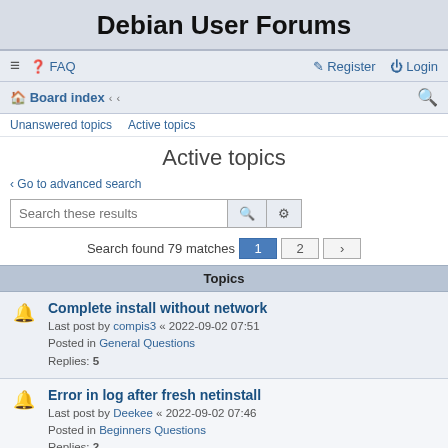Debian User Forums
≡  FAQ    Register  Login
Board index  «  «
Unanswered topics   Active topics
Active topics
‹ Go to advanced search
Search these results
Search found 79 matches  1  2  >
| Topics |
| --- |
| Complete install without network
Last post by compis3 « 2022-09-02 07:51
Posted in General Questions
Replies: 5 |
| Error in log after fresh netinstall
Last post by Deekee « 2022-09-02 07:46
Posted in Beginners Questions
Replies: 2 |
| Bluetooth headset always connects as HSP/HFP
Last post by klt « 2022-09-02 06:38
Posted in Desktop & Multimedia
Replies: 8 |